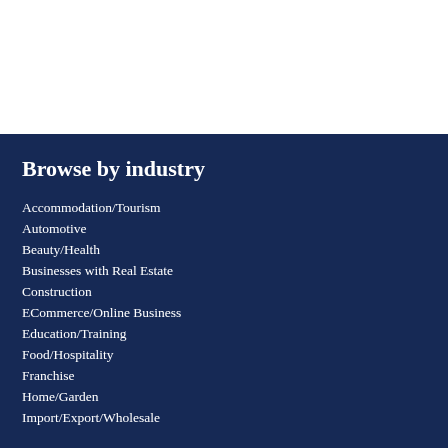Browse by industry
Accommodation/Tourism
Automotive
Beauty/Health
Businesses with Real Estate
Construction
ECommerce/Online Business
Education/Training
Food/Hospitality
Franchise
Home/Garden
Import/Export/Wholesale